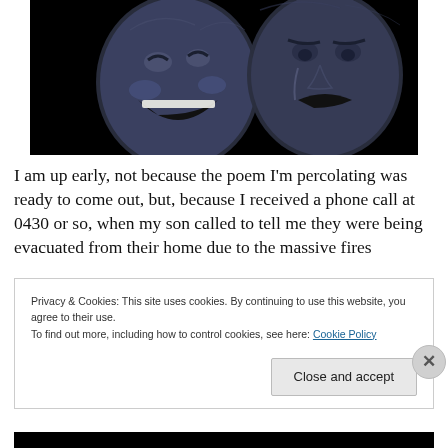[Figure (illustration): Two theatrical masks (comedy and tragedy) rendered in dark blue-grey tones against a black background. One mask shows a wide grinning expression, the other shows a sorrowful expression.]
I am up early, not because the poem I'm percolating was ready to come out, but, because I received a phone call at 0430 or so, when my son called to tell me they were being evacuated from their home due to the massive fires
Privacy & Cookies: This site uses cookies. By continuing to use this website, you agree to their use.
To find out more, including how to control cookies, see here: Cookie Policy